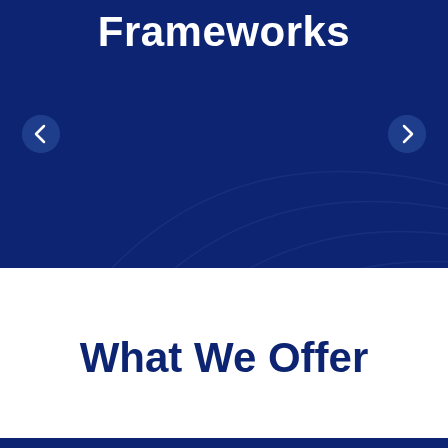[Figure (screenshot): Dark navy blue hero banner with decorative arc/wave lines in the background. Contains navigation arrows (left and right) on either side. The top shows the text 'Frameworks' in large white bold font.]
Frameworks
What We Offer